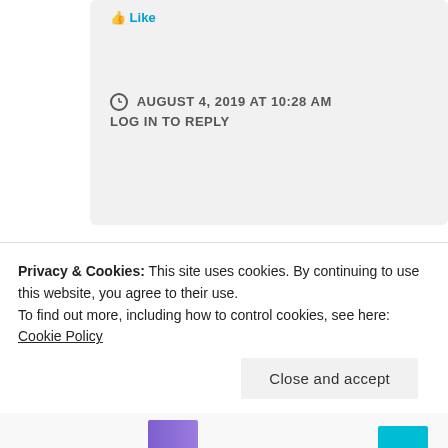AUGUST 4, 2019 AT 10:28 AM
LOG IN TO REPLY
[Figure (photo): Circular avatar photo of AJ Blythe, a person with glasses and short hair wearing a yellow top, with a red circular border.]
AJ Blythe
It has been a while, Anjana. Time just
Privacy & Cookies: This site uses cookies. By continuing to use this website, you agree to their use.
To find out more, including how to control cookies, see here: Cookie Policy
Close and accept